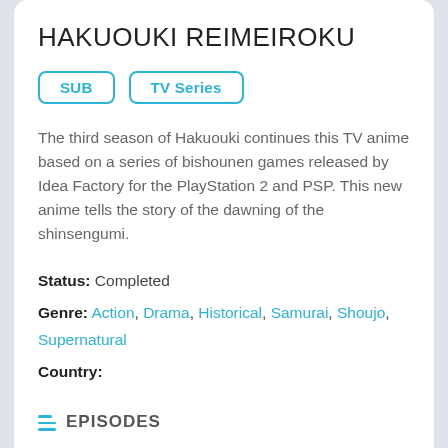HAKUOUKI REIMEIROKU
SUB
TV Series
The third season of Hakuouki continues this TV anime based on a series of bishounen games released by Idea Factory for the PlayStation 2 and PSP. This new anime tells the story of the dawning of the shinsengumi.
Status: Completed
Genre: Action, Drama, Historical, Samurai, Shoujo, Supernatural
Country:
Episode: 12
EPISODES